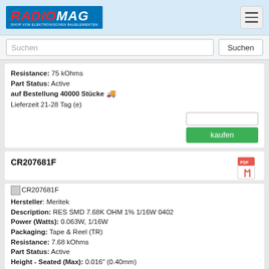RADIOMAG - SHOP VON ELEKTRONISCHEN BAUELEMENTEN
Suchen
Resistance: 75 kOhms
Part Status: Active
auf Bestellung 40000 Stücke
Lieferzeit 21-28 Tag (e)
kaufen
CR207681F
CR207681F
Hersteller: Meritek
Description: RES SMD 7.68K OHM 1% 1/16W 0402
Power (Watts): 0.063W, 1/16W
Packaging: Tape & Reel (TR)
Resistance: 7.68 kOhms
Part Status: Active
Height - Seated (Max): 0.016" (0.40mm)
Number of Terminations: 2
Operating Temperature: -55°C ~ 155°C
Composition: Thick Film
Size / Dimension: 0.039" L x 0.020" W (1.00mm x 0.50mm)